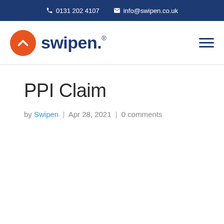0131 202 4107  info@swipen.co.uk
[Figure (logo): Swipen logo: orange circle with white chevron/arrow icon, followed by 'swipen.' text in dark blue, with registered trademark symbol]
PPI Claim
by Swipen | Apr 28, 2021 | 0 comments